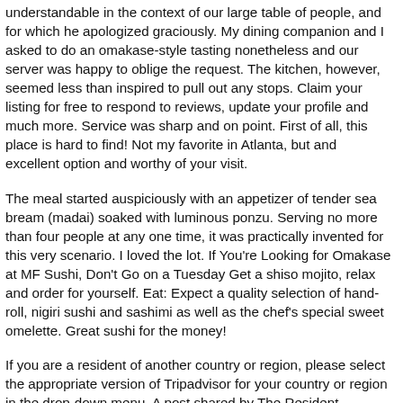understandable in the context of our large table of people, and for which he apologized graciously. My dining companion and I asked to do an omakase-style tasting nonetheless and our server was happy to oblige the request. The kitchen, however, seemed less than inspired to pull out any stops. Claim your listing for free to respond to reviews, update your profile and much more. Service was sharp and on point. First of all, this place is hard to find! Not my favorite in Atlanta, but and excellent option and worthy of your visit.
The meal started auspiciously with an appetizer of tender sea bream (madai) soaked with luminous ponzu. Serving no more than four people at any one time, it was practically invented for this very scenario. I loved the lot. If You're Looking for Omakase at MF Sushi, Don't Go on a Tuesday Get a shiso mojito, relax and order for yourself. Eat: Expect a quality selection of hand-roll, nigiri sushi and sashimi as well as the chef's special sweet omelette. Great sushi for the money!
If you are a resident of another country or region, please select the appropriate version of Tripadvisor for your country or region in the drop-down menu. A post shared by The Resident (@theresidentlondon) on Oct 15, 2020 at 9:51am PDT. Sure, you can dine outside, but it's late October in England... Room temperature